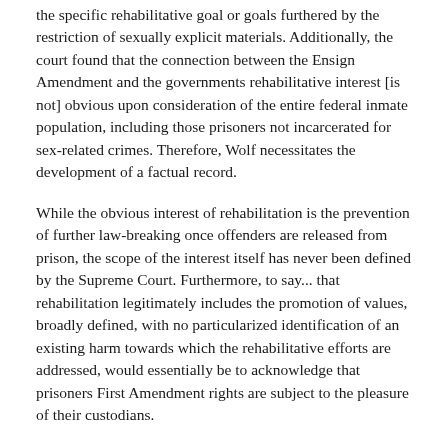the specific rehabilitative goal or goals furthered by the restriction of sexually explicit materials. Additionally, the court found that the connection between the Ensign Amendment and the governments rehabilitative interest [is not] obvious upon consideration of the entire federal inmate population, including those prisoners not incarcerated for sex-related crimes. Therefore, Wolf necessitates the development of a factual record.
While the obvious interest of rehabilitation is the prevention of further law-breaking once offenders are released from prison, the scope of the interest itself has never been defined by the Supreme Court. Furthermore, to say... that rehabilitation legitimately includes the promotion of values, broadly defined, with no particularized identification of an existing harm towards which the rehabilitative efforts are addressed, would essentially be to acknowledge that prisoners First Amendment rights are subject to the pleasure of their custodians.
The court explained that determining whether there is a rational link between sexually explicit material and the forms toward which the governments overall rehabilitative efforts are directed requires more than a conclusory assertion that the consumption of [sexually explicit] publications implicitly elevate[s] the value of the viewers immediate sexual gratification over the values of respect and consideration for others